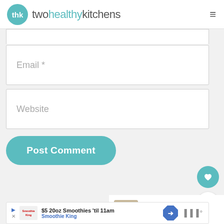twohealthykitchens
Email *
Website
Post Comment
[Figure (other): Heart favorite button (teal circle with white heart icon)]
[Figure (other): Share button (white circle with share icon)]
[Figure (other): What's Next panel with food thumbnail — Sweet and Spicy Cream...]
$5 20oz Smoothies 'til 11am
Smootchie King